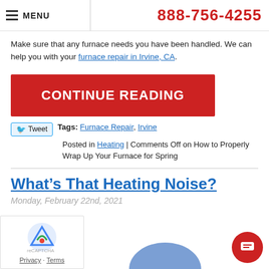MENU | 888-756-4255
Make sure that any furnace needs you have been handled. We can help you with your furnace repair in Irvine, CA.
CONTINUE READING
Tweet | Tags: Furnace Repair, Irvine
Posted in Heating | Comments Off on How to Properly Wrap Up Your Furnace for Spring
What’s That Heating Noise?
Monday, February 22nd, 2021